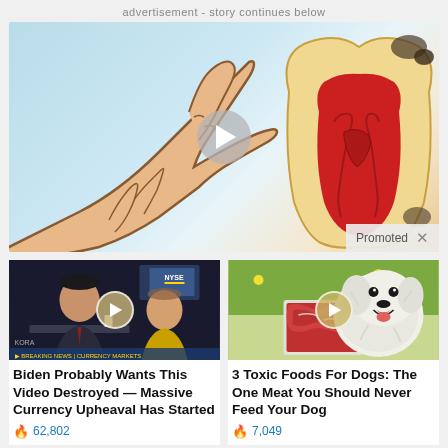advertisement - story continues below
[Figure (illustration): Main advertisement video thumbnail showing a hand pointing at a tooth cross-section illustration with play button overlay and 'Promoted' label]
[Figure (screenshot): Video thumbnail of a news show with a man in suit at desk, play button overlay]
Biden Probably Wants This Video Destroyed — Massive Currency Upheaval Has Started
🔥 62,802
[Figure (photo): Video thumbnail of a fluffy white dog with a tray of raw meat, play button overlay]
3 Toxic Foods For Dogs: The One Meat You Should Never Feed Your Dog
🔥 7,049